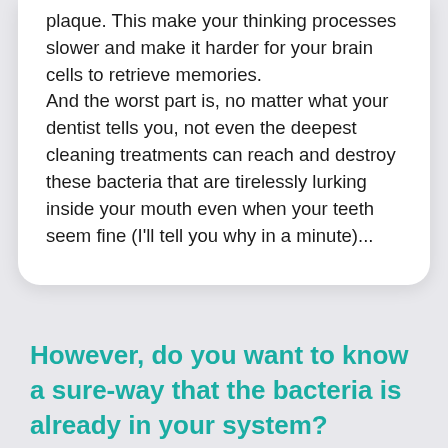plaque. This make your thinking processes slower and make it harder for your brain cells to retrieve memories.
And the worst part is, no matter what your dentist tells you, not even the deepest cleaning treatments can reach and destroy these bacteria that are tirelessly lurking inside your mouth even when your teeth seem fine (I'll tell you why in a minute)...
However, do you want to know a sure-way that the bacteria is already in your system?